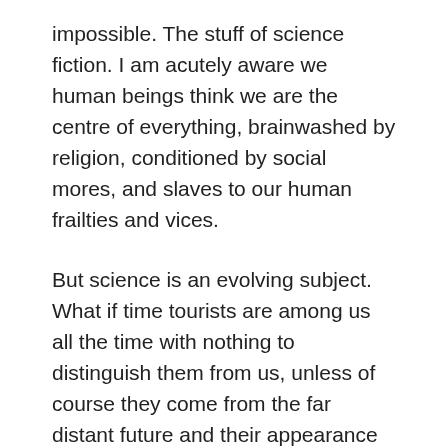impossible. The stuff of science fiction. I am acutely aware we human beings think we are the centre of everything, brainwashed by religion, conditioned by social mores, and slaves to our human frailties and vices.
But science is an evolving subject. What if time tourists are among us all the time with nothing to distinguish them from us, unless of course they come from the far distant future and their appearance has evolved into a seemingly different being that looks “alien”. Maybe all the UFOs that are seen are not from far away alien planets but are crafts and devices from different dimensions or time.
I remember that he seemed fascinated by my